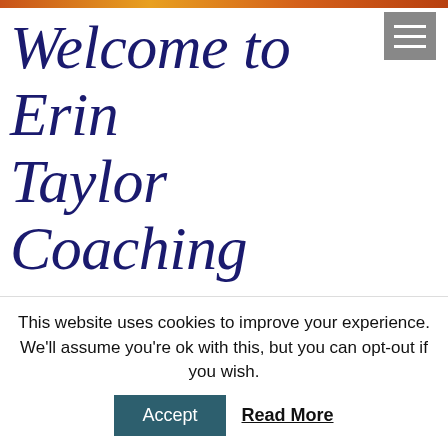Welcome to Erin Taylor Coaching
When it comes to parenting, you've read all of the books, listened to all of the videos, taken all of the courses. Despite this, as a parent, it's still hard to navigate your way to a more content, peaceful, and happy life with your children. Not only are children our greatest
This website uses cookies to improve your experience. We'll assume you're ok with this, but you can opt-out if you wish.
Accept   Read More